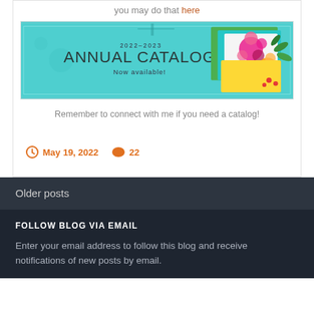you may do that here
[Figure (illustration): 2022-2023 Annual Catalog banner with teal background, large text reading '2022-2023 ANNUAL CATALOG Now available!' and floral decorations on the right side]
Remember to connect with me if you need a catalog!
May 19, 2022   22
Older posts
FOLLOW BLOG VIA EMAIL
Enter your email address to follow this blog and receive notifications of new posts by email.